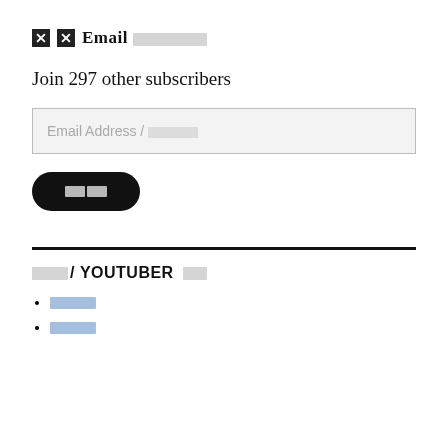✖✖ Email ░░░░░░░░
Join 297 other subscribers
Email Address / ░░░░░░
░░
░░░/ YOUTUBER ░░
░░░░
░░░░